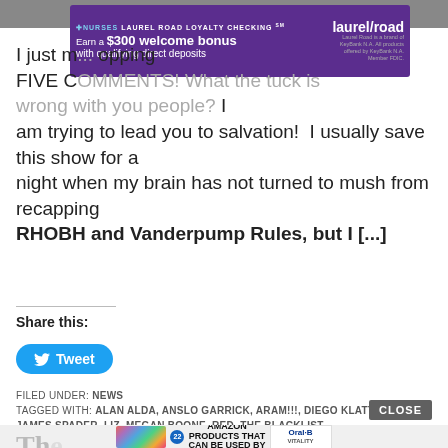[Figure (photo): Top image strip — partially visible screenshot/image at top of page]
[Figure (other): Advertisement banner: Laurel Road Loyalty Checking — Earn a $300 welcome bonus with qualifying direct deposits. Nurses promotion.]
I just m... FIVE COMMENTS! What the tuck is wrong with you people? I am trying to lead you to salvation!  I usually save this show for a night when my brain has not turned to mush from recapping RHOBH and Vanderpump Rules, but I [...]
Share this:
[Figure (other): Tweet button — blue rounded button with Twitter bird icon and 'Tweet' text]
FILED UNDER: NEWS
TAGGED WITH: ALAN ALDA, ANSLO GARRICK, ARAM!!!, DIEGO KLATTENHOFF, JAMES SPADER, LIZ, MEGAN BOONE, RED, THE BLACKLIST
[Figure (other): Bottom advertisement: colorful scrunchies photo, '22 37 GENIUS AMAZON PRODUCTS THAT CAN BE USED BY ANYONE' text ad, and Oral-B Vitality toothbrush ad with close button]
Th...